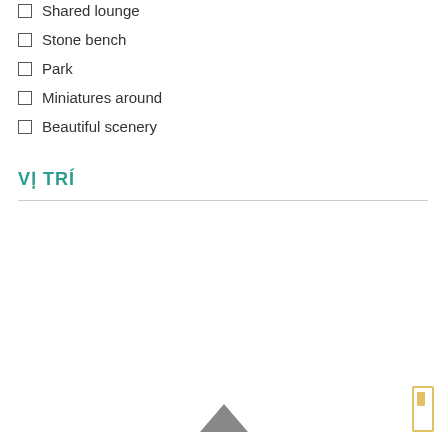Shared lounge
Stone bench
Park
Miniatures around
Beautiful scenery
VỊ TRÍ
[Figure (other): Back to top chevron arrow icon at the bottom of the page]
[Figure (other): Yellow scroll indicator bar on the right side]